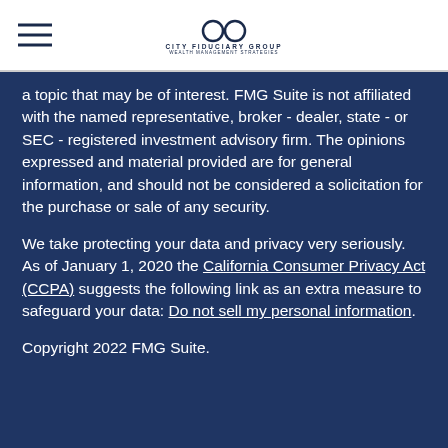City Fiduciary Group
a topic that may be of interest. FMG Suite is not affiliated with the named representative, broker - dealer, state - or SEC - registered investment advisory firm. The opinions expressed and material provided are for general information, and should not be considered a solicitation for the purchase or sale of any security.
We take protecting your data and privacy very seriously. As of January 1, 2020 the California Consumer Privacy Act (CCPA) suggests the following link as an extra measure to safeguard your data: Do not sell my personal information.
Copyright 2022 FMG Suite.